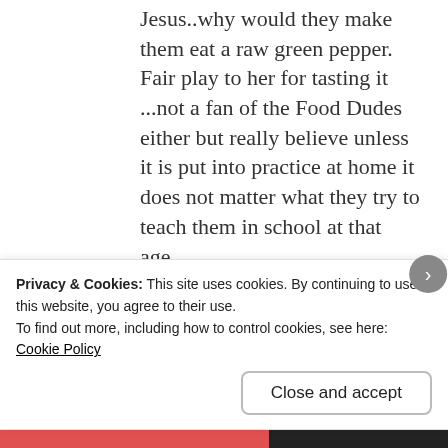Jesus..why would they make them eat a raw green pepper. Fair play to her for tasting it ...not a fan of the Food Dudes either but really believe unless it is put into practice at home it does not matter what they try to teach them in school at that age.
★ Like
Colette
Privacy & Cookies: This site uses cookies. By continuing to use this website, you agree to their use.
To find out more, including how to control cookies, see here:
Cookie Policy

Close and accept